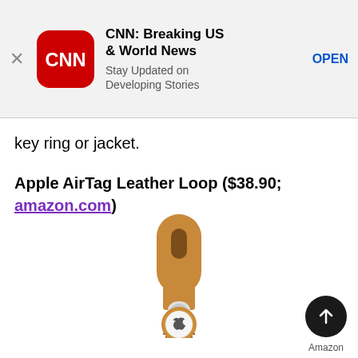[Figure (screenshot): CNN app advertisement banner with CNN logo icon, title 'CNN: Breaking US & World News', subtitle 'Stay Updated on Developing Stories', and an OPEN link button]
key ring or jacket.
Apple AirTag Leather Loop ($38.90; amazon.com)
[Figure (photo): Apple AirTag Leather Loop product photo showing a tan/saddle brown leather strap loop with the AirTag tracker attached at the bottom, featuring the Apple logo visible on the tracker]
Amazon